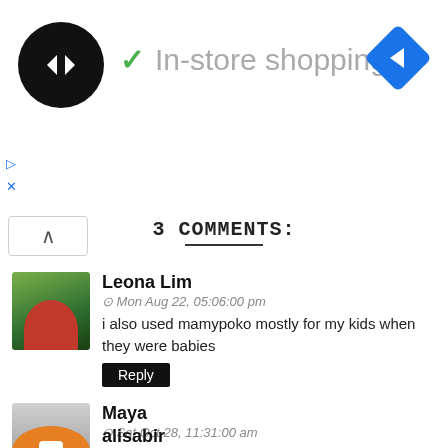[Figure (screenshot): Ad banner showing a circular black logo with diamond arrows, green checkmark, 'In-store shopping' text, and a blue navigation diamond arrow icon on the right]
3 COMMENTS:
Leona Lim
Mon Aug 22, 05:06:00 pm
i also used mamypoko mostly for my kids when they were babies
Reply
Maya
Sat Oct 28, 11:31:00 am
I love mamypoko and I think it's the best diaper so far. But the price is quite expensive compared to other brands.
Reply
alisabir
Sat May 29, 03:28:00 am